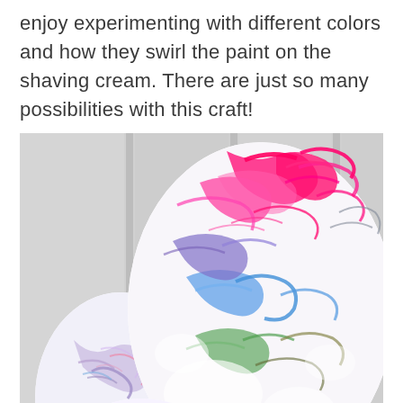enjoy experimenting with different colors and how they swirl the paint on the shaving cream. There are just so many possibilities with this craft!
[Figure (photo): Two large Easter egg cutouts decorated with swirling marbled paint in pink, blue, green, purple, and other colors, propped against a white paneled wall background. A third partially visible marbled egg shape appears at the bottom of the image.]